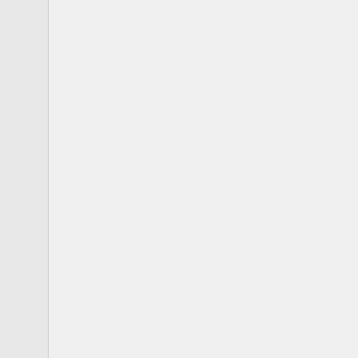Now, for the question. I have a few other VGMs I rewrote again in SMPS, but instead of being limited to the Mega Drive's one DAC channel, I used the Sega CD's PCM channels, as this allowed for 6 FM channels and more than one PCM sample channel if I needed it. However, Kega Fusion can record VGMs for the Mega CD, but of things, I don't know if there was ever a version released that allowed logging of the Sega CD. Is there any way of getting the PCM track(s) in without having to play around in a hex editor? If not, how would I go about adding them in a hex editor too? :U
Here are two of the VGMs without the PCM channels in them, as I haven't a clue how to add them, and an MP3 of how they should sound with the addition in too, until I work out how to add it in myself. The MP3s will link to an online player to save downloading, since they aren't technically allowed here(!)
Planet Wisp from Sonic Colours, another test, has portamentos but as they're only on the bass they're harder to hear.
http://www.hapisan.com/vgm/planetWisp_no...
http://www.hapisan.com/mp3.php?...